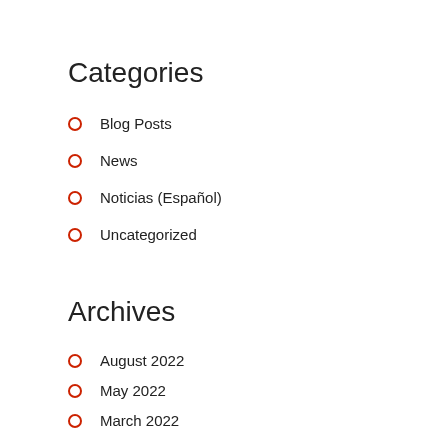Categories
Blog Posts
News
Noticias (Español)
Uncategorized
Archives
August 2022
May 2022
March 2022
January 2022
November 2021
September 2021
July 2021
June 2021